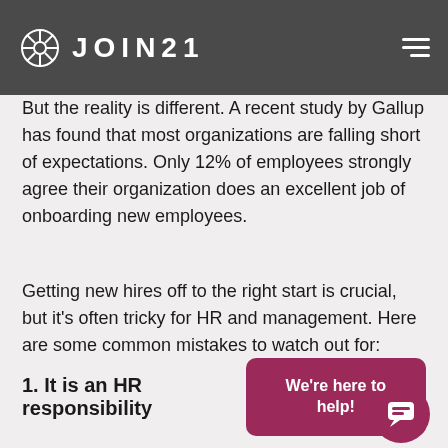JOIN21
But the reality is different. A recent study by Gallup has found that most organizations are falling short of expectations. Only 12% of employees strongly agree their organization does an excellent job of onboarding new employees.
Getting new hires off to the right start is crucial, but it's often tricky for HR and management. Here are some common mistakes to watch out for:
1. It is an HR responsibility
We're here to help!
Although HR and leadership should implement onboarding, they can't cover the fact that managers must model what it requires to succeed.